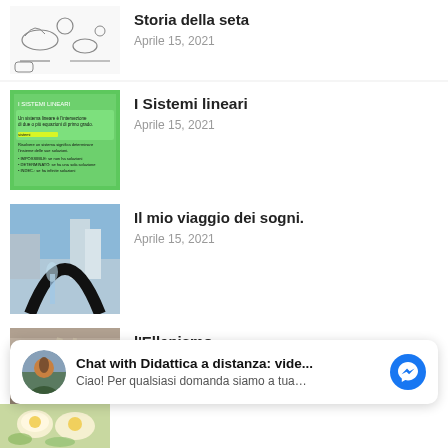[Figure (screenshot): Partial view of a blog post thumbnail showing silk worm/history of silk drawings on white background]
Storia della seta
Aprile 15, 2021
[Figure (screenshot): Green slide thumbnail about I Sistemi lineari with Italian text about linear systems]
I Sistemi lineari
Aprile 15, 2021
[Figure (photo): Photo of modern city architecture with a curved black structure and waterfall, skyscrapers in background]
Il mio viaggio dei sogni.
Aprile 15, 2021
[Figure (photo): Photo of ancient Greek or Roman style interior hall with columns and sunlight streaming in]
l'Ellenismo
Aprile 15, 2021
Chat with Didattica a distanza: vide...
Ciao! Per qualsiasi domanda siamo a tua…
[Figure (photo): Partial bottom thumbnail image showing food/eggs on green background]